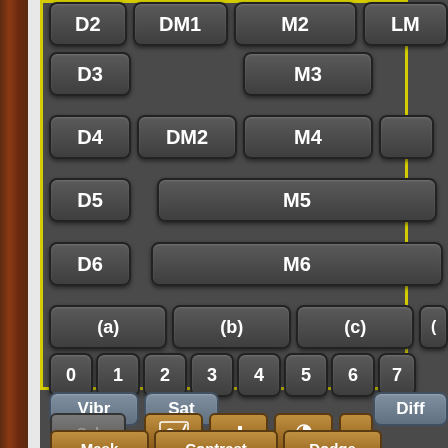[Figure (screenshot): Software UI panel showing a keyboard/button layout with labeled buttons: D2, DM1, M2, LM (top row, partial), D3, M3 (row 1), D4, DM2, M4 (row 2), D5, M5 (row 3), D6, M6 (row 4), (a), (b), (c) (row 5), 0, 1, 2, 3, 4, 5, 6, 7 (number row), Vibr, Sat, Diff (bottom of yellow box), Apply section with Sel, icon buttons (Mask, Contrast, Dodge), and Refine label. Brown leather panel on left edge.]